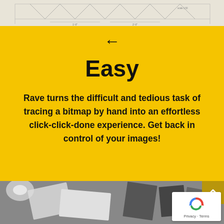[Figure (illustration): Blueprint/architectural drawing at top of page, beige background with faint line drawings]
[Figure (infographic): Left-pointing arrow navigation button on yellow background]
Easy
Rave turns the difficult and tedious task of tracing a bitmap by hand into an effortless click-click-done experience. Get back in control of your images!
[Figure (photo): Black and white photo of notebooks, architectural drawings, and material samples spread on a surface with a white flower]
[Figure (logo): reCAPTCHA badge with Privacy - Terms text]